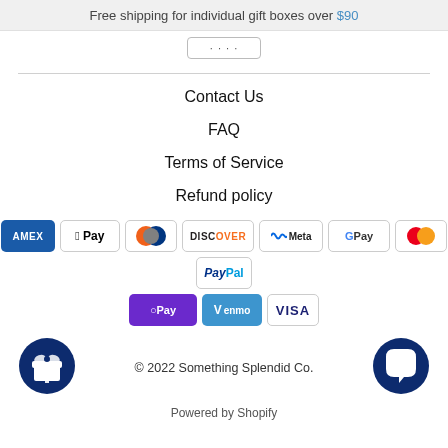Free shipping for individual gift boxes over $90
[Figure (screenshot): Partially visible button stub with dots/text]
Contact Us
FAQ
Terms of Service
Refund policy
[Figure (infographic): Row of payment method icons: American Express, Apple Pay, Diners Club, Discover, Meta Pay, Google Pay, Mastercard, PayPal, Shop Pay, Venmo, Visa]
[Figure (infographic): Loyalty/reward gift icon (dark blue circle with gift box) on left, chat bubble icon on right]
© 2022 Something Splendid Co.
Powered by Shopify